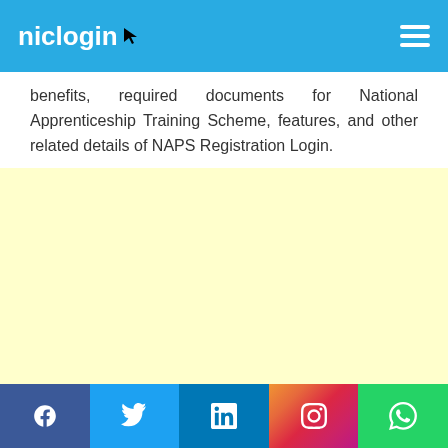niclogin
benefits, required documents for National Apprenticeship Training Scheme, features, and other related details of NAPS Registration Login.
[Figure (other): Advertisement placeholder with light yellow background]
Social media share bar: Facebook, Twitter, LinkedIn, Instagram, WhatsApp